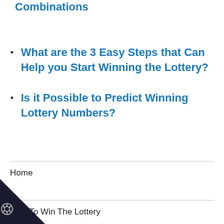Combinations
What are the 3 Easy Steps that Can Help you Start Winning the Lottery?
Is it Possible to Predict Winning Lottery Numbers?
Home
How To Win The Lottery